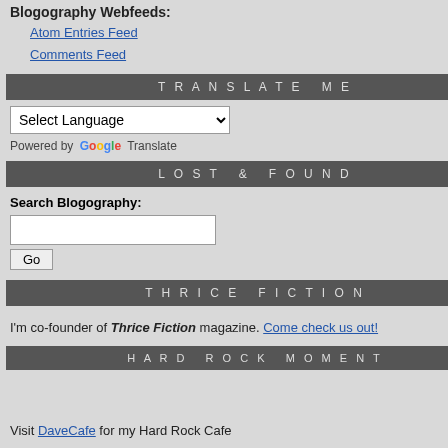Blogography Webfeeds:
Atom Entries Feed
Comments Feed
TRANSLATE ME
Select Language — Powered by Google Translate
LOST & FOUND
Search Blogography:
THRICE FICTION
I'm co-founder of Thrice Fiction magazine. Come check us out!
HARD ROCK MOMENT
Visit DaveCafe for my Hard Rock Cafe
Posted on Friday, September 11th, 2020
2001 feels like it was a
And while I've said all pandemic has added a lost their lives then... while 193 Dividing that by the 191 days s 1013 people dying per day in th
Which is to say that essentia
Now, there are people who are MAKE THE PRESIDENT LOO doing that. If you have a heart because of your existing proble health problems you have, if th unmanageable and you die, the horrific stuff they're learning ev well... it's not just death you ha surviving an infection could pu
And sure you're still alive if you